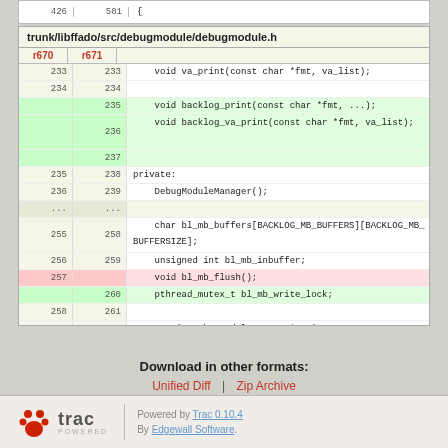426  501  {
| r670 | r671 | code |
| --- | --- | --- |
| 233 | 233 |     void va_print(const char *fmt, va_list); |
| 234 | 234 |  |
|  | 235 |     void backlog_print(const char *fmt, ...); |
|  | 236 |     void backlog_va_print(const char *fmt, va_list); |
|  | 237 |  |
| 235 | 238 | private: |
| 236 | 239 |     DebugModuleManager(); |
| ... | ... |  |
| 255 | 258 |     char bl_mb_buffers[BACKLOG_MB_BUFFERS][BACKLOG_MB_BUFFERSIZE]; |
| 256 | 259 |     unsigned int bl_mb_inbuffer; |
| 257 |  |     void bl_mb_flush(); |
|  | 260 |     pthread_mutex_t bl_mb_write_lock; |
| 258 | 261 |  |
| 259 | 262 |     static DebugModuleManager* m_instance; |
Download in other formats:
Unified Diff | Zip Archive
Powered by Trac 0.10.4
By Edgewall Software.